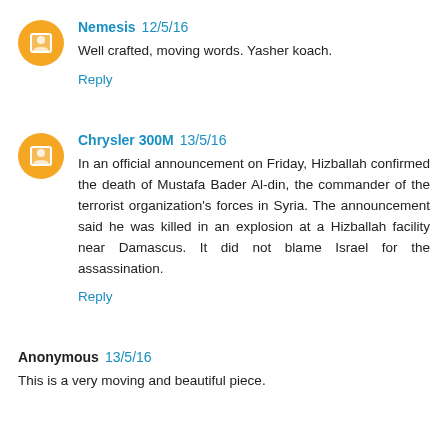Nemesis 12/5/16
Well crafted, moving words. Yasher koach.
Reply
Chrysler 300M 13/5/16
In an official announcement on Friday, Hizballah confirmed the death of Mustafa Bader Al-din, the commander of the terrorist organization's forces in Syria. The announcement said he was killed in an explosion at a Hizballah facility near Damascus. It did not blame Israel for the assassination.
Reply
Anonymous 13/5/16
This is a very moving and beautiful piece.